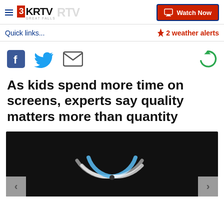3KRTV GREAT FALLS — Watch Now
Quick links...
⚡ 2 weather alerts
[Figure (screenshot): Social sharing icons: Facebook, Twitter, email, and a refresh/reload icon]
As kids spend more time on screens, experts say quality matters more than quantity
[Figure (photo): Dark image showing wifi/streaming signal arc icon in blue and white on a dark background, with left and right navigation arrows]